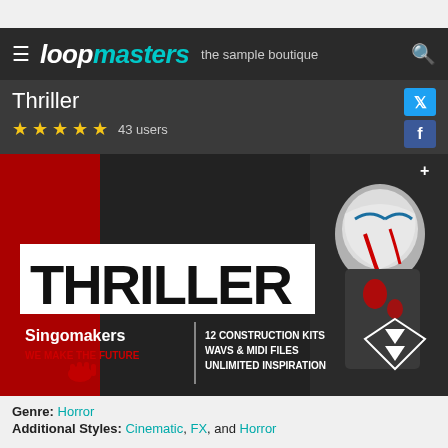Loopmasters — the sample boutique
Thriller
★★★★★ 43 users
[Figure (photo): Thriller sample pack promotional banner by Singomakers. Dark horror theme with a bloody clown figure on the right, red and black color scheme. Large white box with bold black text 'THRILLER'. Below: 'Singomakers / WE MAKE THE FUTURE' on the left, '12 CONSTRUCTION KITS / WAVS & MIDI FILES / UNLIMITED INSPIRATION' in the center, diamond shape with triangles on the right.]
Genre: Horror
Additional Styles: Cinematic, FX, and Horror